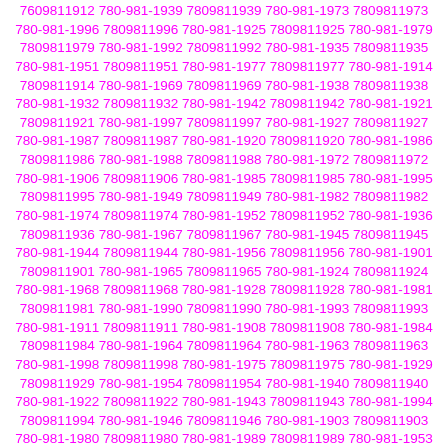7609811912 780-981-1939 7809811939 780-981-1973 7809811973 780-981-1996 7809811996 780-981-1925 7809811925 780-981-1979 7809811979 780-981-1992 7809811992 780-981-1935 7809811935 780-981-1951 7809811951 780-981-1977 7809811977 780-981-1914 7809811914 780-981-1969 7809811969 780-981-1938 7809811938 780-981-1932 7809811932 780-981-1942 7809811942 780-981-1921 7809811921 780-981-1997 7809811997 780-981-1927 7809811927 780-981-1987 7809811987 780-981-1920 7809811920 780-981-1986 7809811986 780-981-1988 7809811988 780-981-1972 7809811972 780-981-1906 7809811906 780-981-1985 7809811985 780-981-1995 7809811995 780-981-1949 7809811949 780-981-1982 7809811982 780-981-1974 7809811974 780-981-1952 7809811952 780-981-1936 7809811936 780-981-1967 7809811967 780-981-1945 7809811945 780-981-1944 7809811944 780-981-1956 7809811956 780-981-1901 7809811901 780-981-1965 7809811965 780-981-1924 7809811924 780-981-1968 7809811968 780-981-1928 7809811928 780-981-1981 7809811981 780-981-1990 7809811990 780-981-1993 7809811993 780-981-1911 7809811911 780-981-1908 7809811908 780-981-1984 7809811984 780-981-1964 7809811964 780-981-1963 7809811963 780-981-1998 7809811998 780-981-1975 7809811975 780-981-1929 7809811929 780-981-1954 7809811954 780-981-1940 7809811940 780-981-1922 7809811922 780-981-1943 7809811943 780-981-1994 7809811994 780-981-1946 7809811946 780-981-1903 7809811903 780-981-1980 7809811980 780-981-1989 7809811989 780-981-1953 7809811953 780-981-1976 7809811976 780-981-1910 7809811910 780-981-1992 7809811992 780-981-1922 7809811922